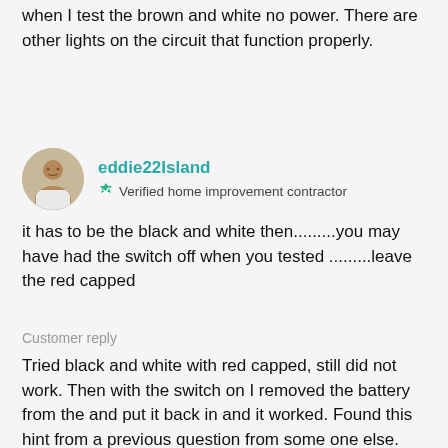when I test the brown and white no power. There are other lights on the circuit that function properly.
eddie22Island
Verified home improvement contractor
it has to be the black and white then.........you may have had the switch off when you tested .........leave the red capped
Customer reply
Tried black and white with red capped, still did not work. Then with the switch on I removed the battery from the and put it back in and it worked. Found this hint from a previous question from some one else.